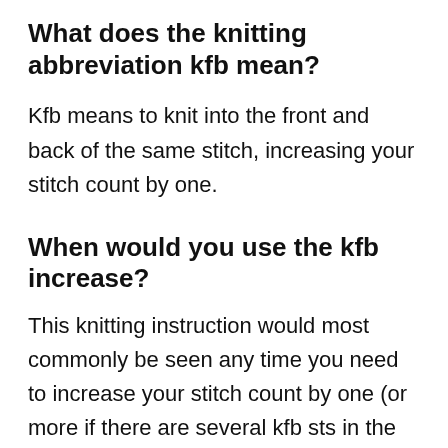What does the knitting abbreviation kfb mean?
Kfb means to knit into the front and back of the same stitch, increasing your stitch count by one.
When would you use the kfb increase?
This knitting instruction would most commonly be seen any time you need to increase your stitch count by one (or more if there are several kfb sts in the row/round). You might see it shaping